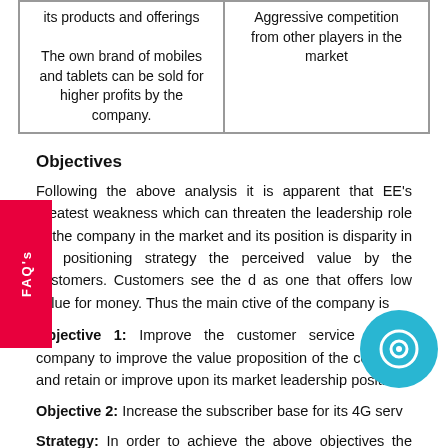| its products and offerings

The own brand of mobiles and tablets can be sold for higher profits by the company. | Aggressive competition from other players in the market |
Objectives
Following the above analysis it is apparent that EE's greatest weakness which can threaten the leadership role of the company in the market and its position is disparity in its positioning strategy the perceived value by the customers. Customers see the d as one that offers low value for money. Thus the main ctive of the company is
Objective 1: Improve the customer service of the company to improve the value proposition of the company and retain or improve upon its market leadership position.
Objective 2: Increase the subscriber base for its 4G serv...
Strategy: In order to achieve the above objectives the company